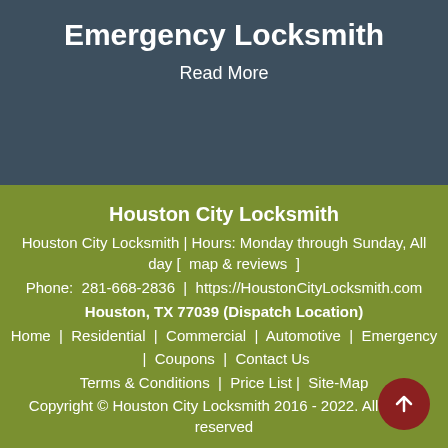Emergency Locksmith
Read More
Houston City Locksmith
Houston City Locksmith | Hours: Monday through Sunday, All day [  map & reviews  ]
Phone:  281-668-2836  |  https://HoustonCityLocksmith.com
Houston, TX 77039 (Dispatch Location)
Home   |   Residential  |  Commercial  |  Automotive  |  Emergency  |  Coupons  |  Contact Us
Terms & Conditions  |  Price List |  Site-Map
Copyright © Houston City Locksmith 2016 - 2022. All rights reserved